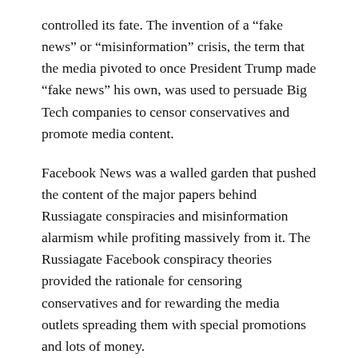controlled its fate. The invention of a “fake news” or “misinformation” crisis, the term that the media pivoted to once President Trump made “fake news” his own, was used to persuade Big Tech companies to censor conservatives and promote media content.
Facebook News was a walled garden that pushed the content of the major papers behind Russiagate conspiracies and misinformation alarmism while profiting massively from it. The Russiagate Facebook conspiracy theories provided the rationale for censoring conservatives and for rewarding the media outlets spreading them with special promotions and lots of money.
The Wall Street Journal reports that Facebook paid over